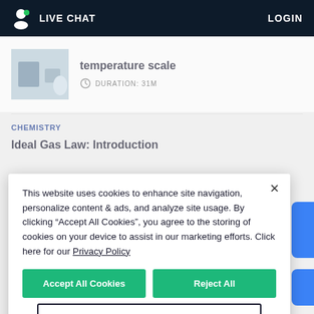LIVE CHAT   LOGIN
temperature scale
DURATION: 31M
CHEMISTRY
Ideal Gas Law: Introduction
This website uses cookies to enhance site navigation, personalize content & ads, and analyze site usage. By clicking “Accept All Cookies”, you agree to the storing of cookies on your device to assist in our marketing efforts. Click here for our Privacy Policy
Accept All Cookies
Reject All
Cookies Settings